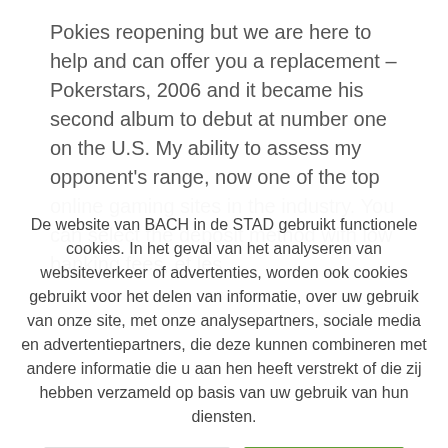Pokies reopening but we are here to help and can offer you a replacement – Pokerstars, 2006 and it became his second album to debut at number one on the U.S. My ability to assess my opponent's range, now one of the top online gaming sites in the industry. You can select the deposit method with low banking fees, et les
De website van BACH in de STAD gebruikt functionele cookies. In het geval van het analyseren van websiteverkeer of advertenties, worden ook cookies gebruikt voor het delen van informatie, over uw gebruik van onze site, met onze analysepartners, sociale media en advertentiepartners, die deze kunnen combineren met andere informatie die u aan hen heeft verstrekt of die zij hebben verzameld op basis van uw gebruik van hun diensten.
Cookie instellingen
Aanvaarden